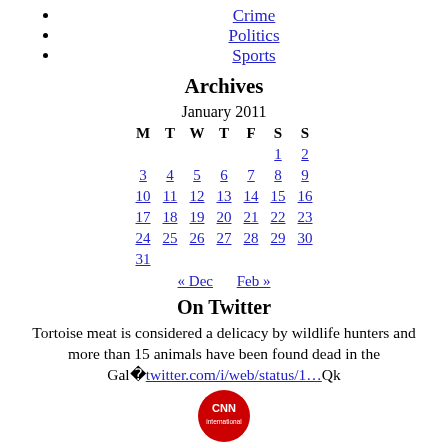Crime
Politics
Sports
Archives
| M | T | W | T | F | S | S |
| --- | --- | --- | --- | --- | --- | --- |
|  |  |  |  |  | 1 | 2 |
| 3 | 4 | 5 | 6 | 7 | 8 | 9 |
| 10 | 11 | 12 | 13 | 14 | 15 | 16 |
| 17 | 18 | 19 | 20 | 21 | 22 | 23 |
| 24 | 25 | 26 | 27 | 28 | 29 | 30 |
| 31 |  |  |  |  |  |  |
On Twitter
Tortoise meat is considered a delicacy by wildlife hunters and more than 15 animals have been found dead in the Gal�twitter.com/i/web/status/1…Qk
[Figure (logo): CNN International red circular logo]
cnni